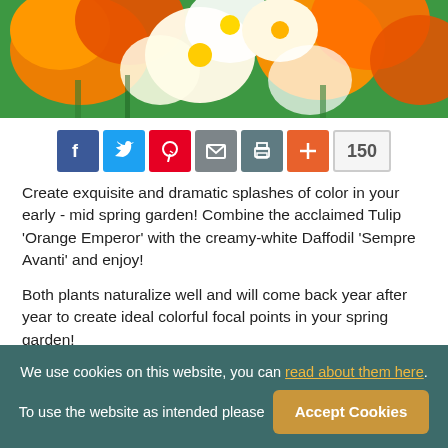[Figure (photo): Orange tulips and white daffodils in a spring garden, viewed from above]
[Figure (infographic): Social sharing bar with Facebook, Twitter, Pinterest, Email, Print, Plus icons and share count of 150]
Create exquisite and dramatic splashes of color in your early - mid spring garden! Combine the acclaimed Tulip 'Orange Emperor' with the creamy-white Daffodil 'Sempre Avanti' and enjoy!
Both plants naturalize well and will come back year after year to create ideal colorful focal points in your spring garden!
Plants In This Garden
We use cookies on this website, you can read about them here. To use the website as intended please Accept Cookies